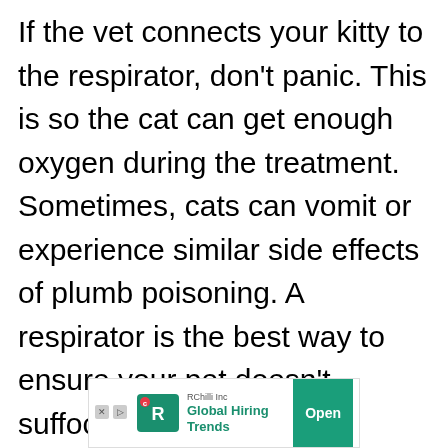If the vet connects your kitty to the respirator, don't panic. This is so the cat can get enough oxygen during the treatment. Sometimes, cats can vomit or experience similar side effects of plumb poisoning. A respirator is the best way to ensure your pet doesn't suffocate.

The vet will probably monitor your
[Figure (screenshot): Advertisement banner for RChilli Inc showing 'Global Hiring Trends' with a green Open button and RChilli logo]